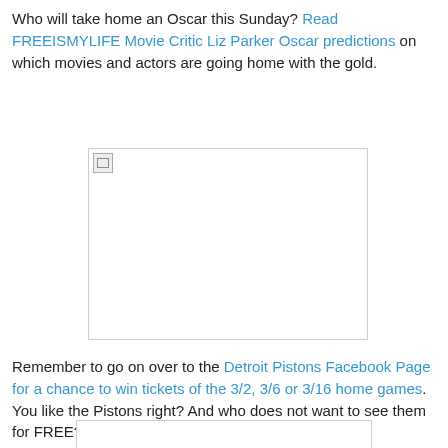Who will take home an Oscar this Sunday? Read FREEISMYLIFE Movie Critic Liz Parker Oscar predictions on which movies and actors are going home with the gold.
[Figure (photo): Broken/missing image placeholder with border, large rectangular image area]
Remember to go on over to the Detroit Pistons Facebook Page for a chance to win tickets of the 3/2, 3/6 or 3/16 home games. You like the Pistons right? And who does not want to see them for FREE?
[Figure (photo): Partially visible broken/missing image placeholder with border at bottom of page]